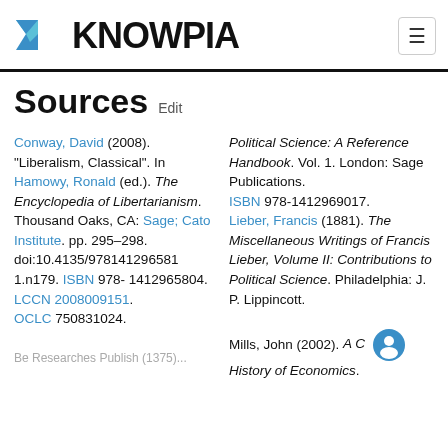KNOWPIA
Sources Edit
Conway, David (2008). "Liberalism, Classical". In Hamowy, Ronald (ed.). The Encyclopedia of Libertarianism. Thousand Oaks, CA: Sage; Cato Institute. pp. 295–298. doi:10.4135/9781412965811.n179. ISBN 978-1412965804. LCCN 2008009151. OCLC 750831024.
Political Science: A Reference Handbook. Vol. 1. London: Sage Publications. ISBN 978-1412969017. Lieber, Francis (1881). The Miscellaneous Writings of Francis Lieber, Volume II: Contributions to Political Science. Philadelphia: J. P. Lippincott. Mills, John (2002). A C… History of Economics.